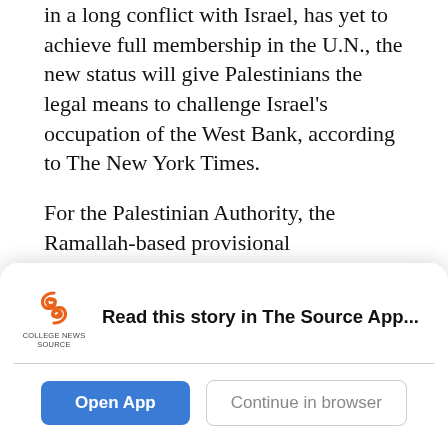in a long conflict with Israel, has yet to achieve full membership in the U.N., the new status will give Palestinians the legal means to challenge Israel's occupation of the West Bank, according to The New York Times.
For the Palestinian Authority, the Ramallah-based provisional government, which controls parts of the West Bank, the status upgrade is a step toward full statehood.
“We did not come here seeking to delejitimize a state established years go, and that is Israel,” Palestinian Authority President Mahmoud Abbas said in an
[Figure (logo): College News Source logo with orange spiral S icon and text 'COLLEGE NEWS SOURCE']
Read this story in The Source App...
Open App
Continue in browser